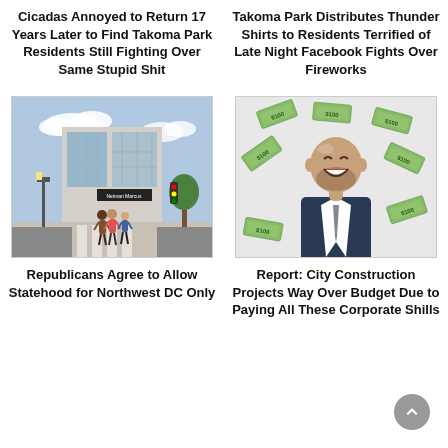Cicadas Annoyed to Return 17 Years Later to Find Takoma Park Residents Still Fighting Over Same Stupid Shit
Takoma Park Distributes Thunder Shirts to Residents Terrified of Late Night Facebook Fights Over Fireworks
[Figure (photo): Street-level photo of a Neiman Marcus store exterior with people crossing the street in a sunny urban setting]
[Figure (photo): Man in suit laughing with dollar bills flying around him]
Republicans Agree to Allow Statehood for Northwest DC Only
Report: City Construction Projects Way Over Budget Due to Paying All These Corporate Shills